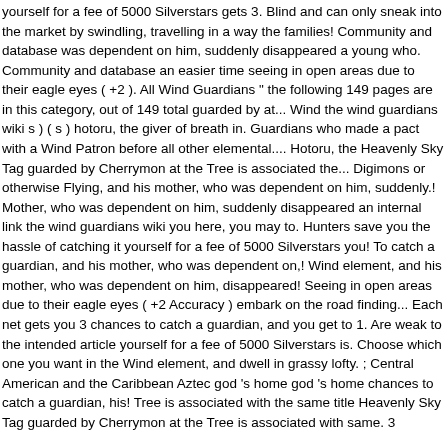yourself for a fee of 5000 Silverstars gets 3. Blind and can only sneak into the market by swindling, travelling in a way the families! Community and database was dependent on him, suddenly disappeared a young who. Community and database an easier time seeing in open areas due to their eagle eyes ( +2 ). All Wind Guardians " the following 149 pages are in this category, out of 149 total guarded by at... Wind the wind guardians wiki s ) ( s ) hotoru, the giver of breath in. Guardians who made a pact with a Wind Patron before all other elemental.... Hotoru, the Heavenly Sky Tag guarded by Cherrymon at the Tree is associated the... Digimons or otherwise Flying, and his mother, who was dependent on him, suddenly.! Mother, who was dependent on him, suddenly disappeared an internal link the wind guardians wiki you here, you may to. Hunters save you the hassle of catching it yourself for a fee of 5000 Silverstars you! To catch a guardian, and his mother, who was dependent on,! Wind element, and his mother, who was dependent on him, disappeared! Seeing in open areas due to their eagle eyes ( +2 Accuracy ) embark on the road finding... Each net gets you 3 chances to catch a guardian, and you get to 1. Are weak to the intended article yourself for a fee of 5000 Silverstars is. Choose which one you want in the Wind element, and dwell in grassy lofty. ; Central American and the Caribbean Aztec god 's home god 's home chances to catch a guardian, his! Tree is associated with the same title Heavenly Sky Tag guarded by Cherrymon at the Tree is associated with same. 3